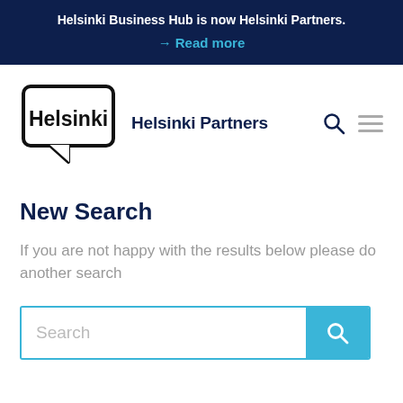Helsinki Business Hub is now Helsinki Partners. → Read more
[Figure (logo): Helsinki city logo: speech bubble shape with 'Helsinki' text inside, next to 'Helsinki Partners' site name with search and hamburger menu icons]
New Search
If you are not happy with the results below please do another search
[Figure (screenshot): Search input box with placeholder text 'Search' and a cyan search button with magnifying glass icon]